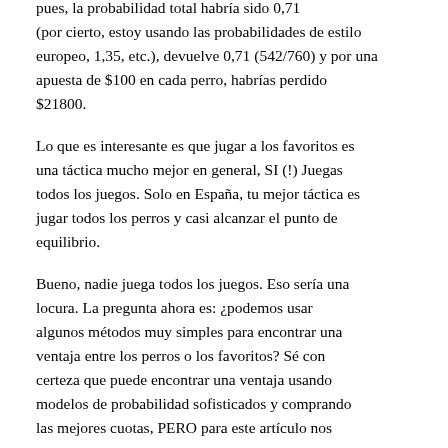pues, la probabilidad total habría sido 0,71 (por cierto, estoy usando las probabilidades de estilo europeo, 1,35, etc.), devuelve 0,71 (542/760) y por una apuesta de $100 en cada perro, habrías perdido $21800.
Lo que es interesante es que jugar a los favoritos es una táctica mucho mejor en general, SI (!) Juegas todos los juegos. Solo en España, tu mejor táctica es jugar todos los perros y casi alcanzar el punto de equilibrio.
Bueno, nadie juega todos los juegos. Eso sería una locura. La pregunta ahora es: ¿podemos usar algunos métodos muy simples para encontrar una ventaja entre los perros o los favoritos? Sé con certeza que puede encontrar una ventaja usando modelos de probabilidad sofisticados y comprando las mejores cuotas, PERO para este artículo nos contentamos con métodos simples de uso de datos.